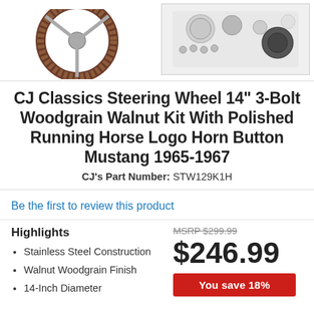[Figure (photo): Partial view of a woodgrain walnut steering wheel (brown ring, silver spokes) on the left, and a chrome horn button/accessory kit on the right against a light gray background]
CJ Classics Steering Wheel 14" 3-Bolt Woodgrain Walnut Kit With Polished Running Horse Logo Horn Button Mustang 1965-1967
CJ's Part Number: STW129K1H
Be the first to review this product
Highlights
Stainless Steel Construction
Walnut Woodgrain Finish
14-Inch Diameter
MSRP $299.99
$246.99
You save 18%